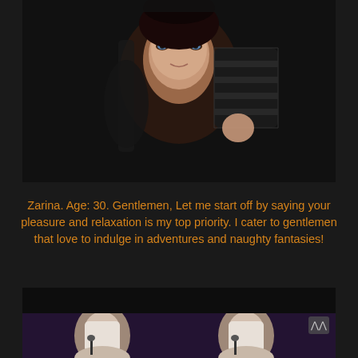[Figure (photo): A young woman with blue eyes and dark hair leaning forward wearing a black fishnet outfit, photographed from above against a dark floor background]
Zarina. Age: 30. Gentlemen, Let me start off by saying your pleasure and relaxation is my top priority. I cater to gentlemen that love to indulge in adventures and naughty fantasies!
[Figure (photo): Two young women wearing white hijabs singing into microphones on a stage with purple lighting in the background]